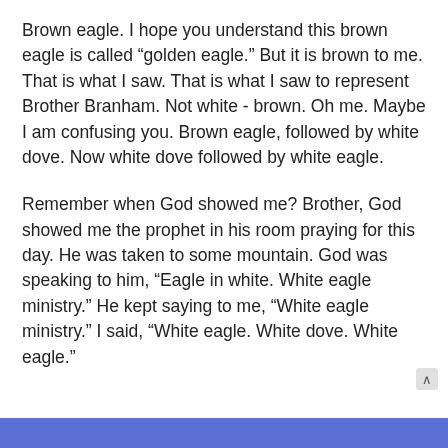Brown eagle. I hope you understand this brown eagle is called “golden eagle.” But it is brown to me. That is what I saw. That is what I saw to represent Brother Branham. Not white - brown. Oh me. Maybe I am confusing you. Brown eagle, followed by white dove. Now white dove followed by white eagle.
Remember when God showed me? Brother, God showed me the prophet in his room praying for this day. He was taken to some mountain. God was speaking to him, “Eagle in white. White eagle ministry.” He kept saying to me, “White eagle ministry.” I said, “White eagle. White dove. White eagle.”